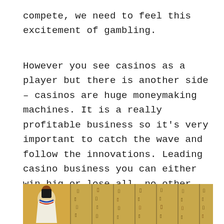compete, we need to feel this excitement of gambling.
However you see casinos as a player but there is another side – casinos are huge moneymaking machines. It is a really profitable business so it's very important to catch the wave and follow the innovations. Leading casino business you can either win big or lose all, no other option. So it is not only about entertainment and pushing your luck, it is about big business, big money, accurate calculations and serious planning.
[Figure (photo): Ancient Egyptian papyrus image showing a figure in white clothing with dark hair and an Egyptian collar necklace, surrounded by hieroglyphic text columns on a yellowed papyrus background.]